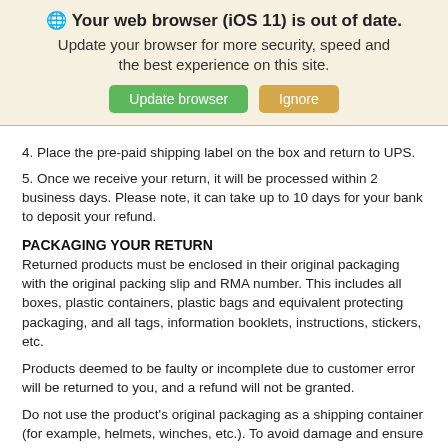🌐 Your web browser (iOS 11) is out of date. Update your browser for more security, speed and the best experience on this site.
Update browser | Ignore
4. Place the pre-paid shipping label on the box and return to UPS.
5. Once we receive your return, it will be processed within 2 business days. Please note, it can take up to 10 days for your bank to deposit your refund.
PACKAGING YOUR RETURN
Returned products must be enclosed in their original packaging with the original packing slip and RMA number. This includes all boxes, plastic containers, plastic bags and equivalent protecting packaging, and all tags, information booklets, instructions, stickers, etc.
Products deemed to be faulty or incomplete due to customer error will be returned to you, and a refund will not be granted.
Do not use the product's original packaging as a shipping container (for example, helmets, winches, etc.). To avoid damage and ensure you are refunded, it's recommended that you pack item(s) in the original packaging and then place them inside of a larger, separate shipping container.